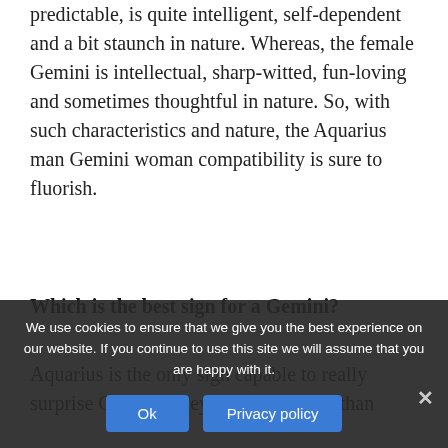The male Aquarius is an individual who is not predictable, is quite intelligent, self-dependent and a bit staunch in nature. Whereas, the female Gemini is intellectual, sharp-witted, fun-loving and sometimes thoughtful in nature. So, with such characteristics and nature, the Aquarius man Gemini woman compatibility is sure to fluorish.
Which is the best sign for a Gemini?
Aquarius is the only sign capable to really surprise Gemini. They are so different than
We use cookies to ensure that we give you the best experience on our website. If you continue to use this site we will assume that you are happy with it.